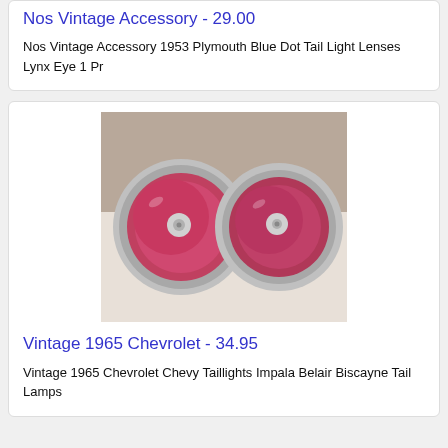Nos Vintage Accessory - 29.00
Nos Vintage Accessory 1953 Plymouth Blue Dot Tail Light Lenses Lynx Eye 1 Pr
[Figure (photo): Photo of two vintage round tail light lenses with chrome rings, red/pink glass, mounted face-up on a beige/cardboard background]
Vintage 1965 Chevrolet - 34.95
Vintage 1965 Chevrolet Chevy Taillights Impala Belair Biscayne Tail Lamps